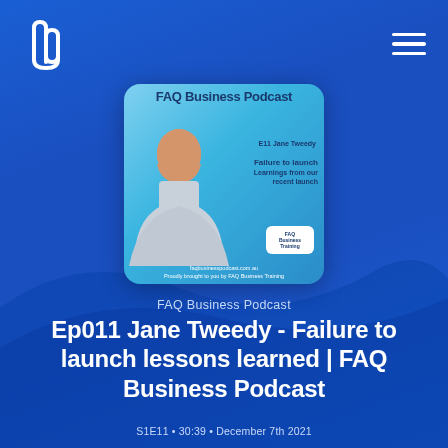[Figure (screenshot): Podcast app screenshot with blue gradient background showing FAQ Business Podcast episode. Header has Pocket Casts logo and hamburger menu. Center shows podcast thumbnail with woman and episode title. Bottom shows episode metadata.]
FAQ Business Podcast
Ep011 Jane Tweedy - Failure to launch lessons learned | FAQ Business Podcast
S1E11 • 30:39 • December 7th 2021